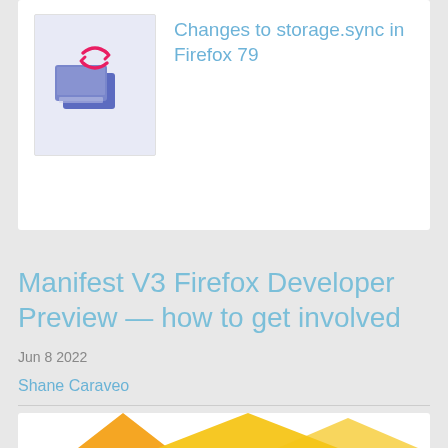[Figure (illustration): Card with illustration of two blue computer screens with a red sync/refresh icon above them, representing Firefox storage.sync feature]
Changes to storage.sync in Firefox 79
Manifest V3 Firefox Developer Preview — how to get involved
Jun 8 2022
Shane Caraveo
3 responses
[Figure (illustration): Partially visible card showing mountain/triangle shapes in yellow and orange colors at bottom of page]